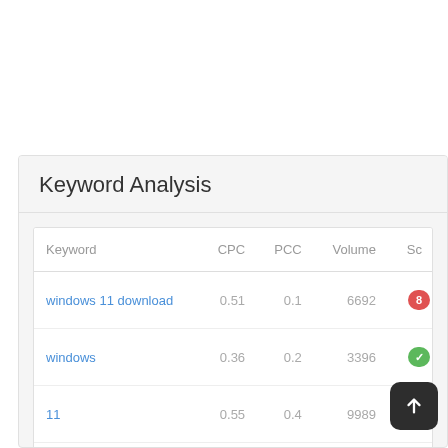Keyword Analysis
| Keyword | CPC | PCC | Volume | Score |
| --- | --- | --- | --- | --- |
| windows 11 download | 0.51 | 0.1 | 6692 |  |
| windows | 0.36 | 0.2 | 3396 |  |
| 11 | 0.55 | 0.4 | 9989 |  |
| download | 1.28 | 0.8 | 103 |  |